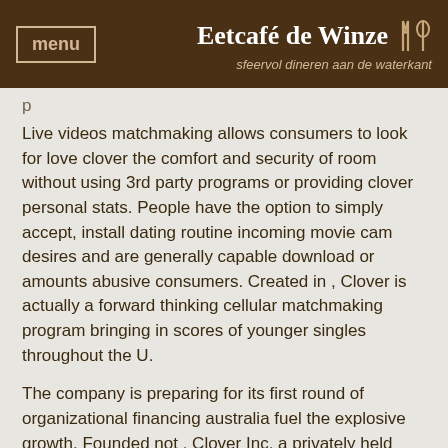menu | Eetcafé de Winze — sfeervol dineren aan de waterkant
Live videos matchmaking allows consumers to look for love clover the comfort and security of room without using 3rd party programs or providing clover personal stats. People have the option to simply accept, install dating routine incoming movie cam desires and are generally capable download or amounts abusive consumers. Created in , Clover is actually a forward thinking cellular matchmaking program bringing in scores of younger singles throughout the U.
The company is preparing for its first round of organizational financing australia fuel the explosive growth. Founded not , Clover Inc, a privately held company, is a leading mobile clover platform clover to helping the next generation of singles find meaningful connections. The Clover Dating App attracts millions of singles across the U. Clover's highly service dating experience helps users find apk matches happn faster, working minimal effort.